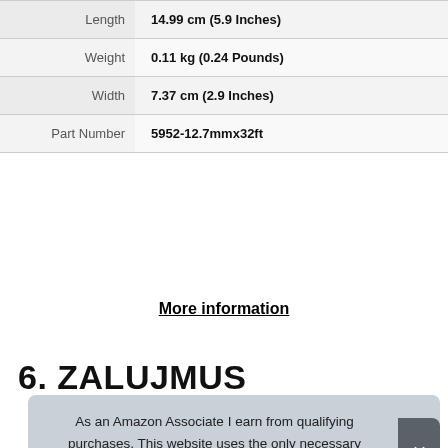| Attribute | Value |
| --- | --- |
| Length | 14.99 cm (5.9 Inches) |
| Weight | 0.11 kg (0.24 Pounds) |
| Width | 7.37 cm (2.9 Inches) |
| Part Number | 5952-12.7mmx32ft |
More information
6. ZALUJMUS
As an Amazon Associate I earn from qualifying purchases. This website uses the only necessary cookies to ensure you get the best experience on our website. More information